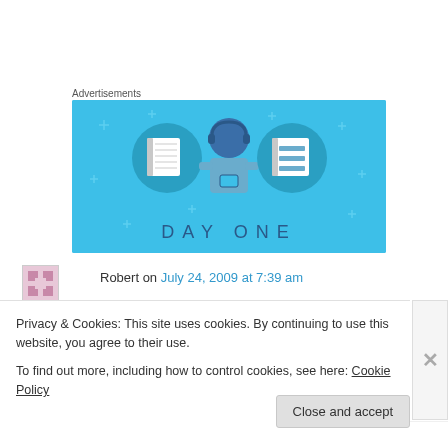Advertisements
[Figure (illustration): Day One app advertisement banner on blue background showing a person with a notebook and journal app icon, text reads DAY ONE]
Robert on July 24, 2009 at 7:39 am
Privacy & Cookies: This site uses cookies. By continuing to use this website, you agree to their use.
To find out more, including how to control cookies, see here: Cookie Policy
Close and accept